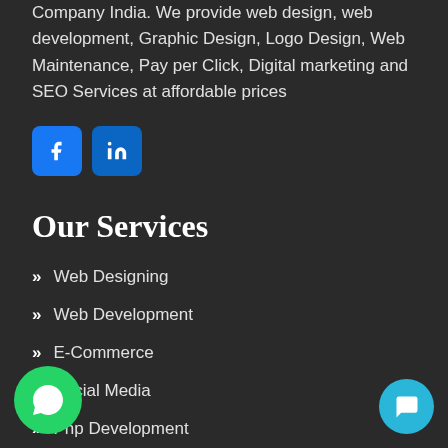Company India. We provide web design, web development, Graphic Design, Logo Design, Web Maintenance, Pay per Click, Digital marketing and SEO Services at affordable prices
[Figure (logo): Facebook icon button (blue rounded square with white f) and LinkedIn icon button (blue rounded square with white 'in')]
Our Services
Web Designing
Web Development
E-Commerce
Social Media
Php Development
Web Hosting
Web Maintenance
[Figure (other): WhatsApp contact button (green circle with phone icon) bottom left]
[Figure (other): Live chat button (cyan circle with chat bubble) bottom right]